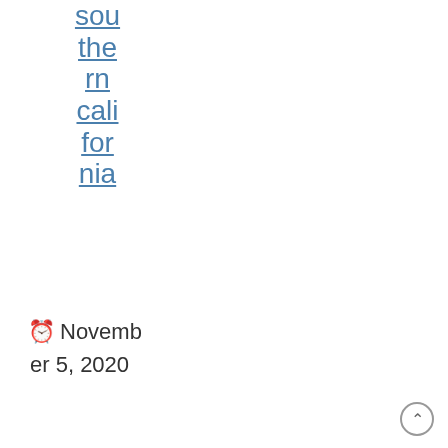southern california
November 5, 2020
unveiled new list of former